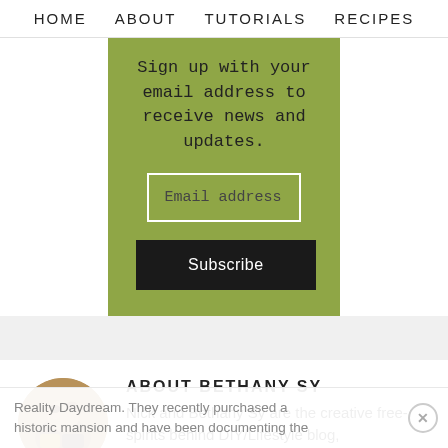HOME   ABOUT   TUTORIALS   RECIPES
Sign up with your email address to receive news and updates.
Email address
Subscribe
ABOUT BETHANY SY
Nick and Bethany Sy are the creative free-spirits behind DIY/Lifestyle blog,
Reality Daydream. They recently purchased a historic mansion and have been documenting the